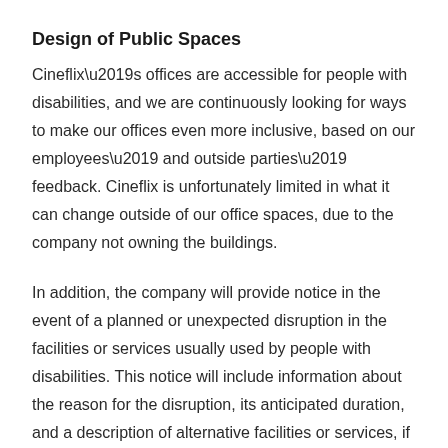Design of Public Spaces
Cineflix’s offices are accessible for people with disabilities, and we are continuously looking for ways to make our offices even more inclusive, based on our employees’ and outside parties’ feedback. Cineflix is unfortunately limited in what it can change outside of our office spaces, due to the company not owning the buildings.
In addition, the company will provide notice in the event of a planned or unexpected disruption in the facilities or services usually used by people with disabilities. This notice will include information about the reason for the disruption, its anticipated duration, and a description of alternative facilities or services, if available. The notice will be sent out by email to all employees and will be posted at